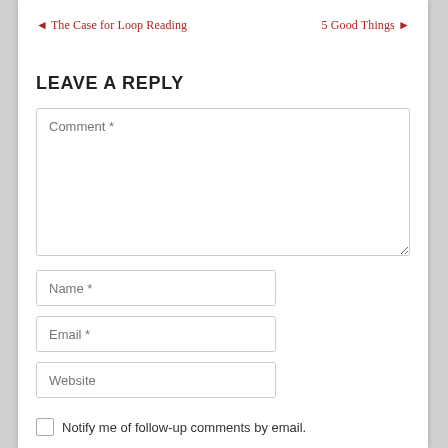◄ The Case for Loop Reading    5 Good Things ►
LEAVE A REPLY
Comment *
Name *
Email *
Website
Notify me of follow-up comments by email.